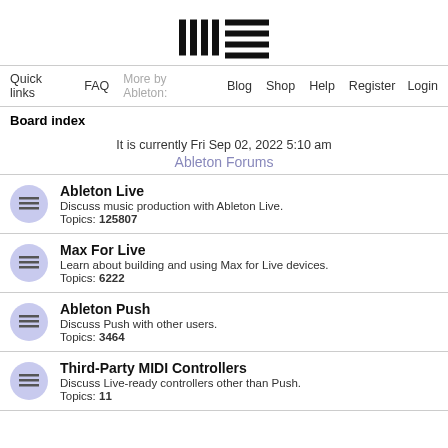[Figure (logo): Ableton logo with vertical bars and horizontal lines]
Quick links  FAQ  More by Ableton:  Blog  Shop  Help  Register  Login
Board index
It is currently Fri Sep 02, 2022 5:10 am
Ableton Forums
Ableton Live
Discuss music production with Ableton Live.
Topics: 125807
Max For Live
Learn about building and using Max for Live devices.
Topics: 6222
Ableton Push
Discuss Push with other users.
Topics: 3464
Third-Party MIDI Controllers
Discuss Live-ready controllers other than Push.
Topics: 11